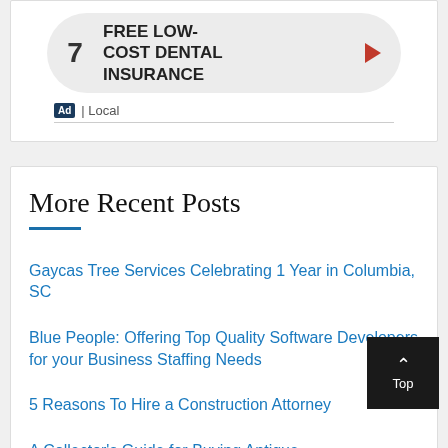[Figure (other): Ad widget showing number 7 with text FREE LOW-COST DENTAL INSURANCE and a red arrow, followed by Ad | Local label]
More Recent Posts
Gaycas Tree Services Celebrating 1 Year in Columbia, SC
Blue People: Offering Top Quality Software Developers for your Business Staffing Needs
5 Reasons To Hire a Construction Attorney
A Collector's Guide for Buying Antique